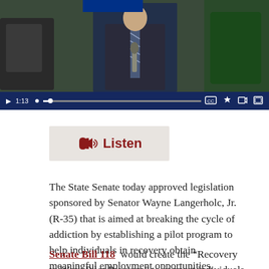[Figure (screenshot): Video player showing a senator at a podium in a legislative chamber. Controls show play button, time stamp 1:13, progress bar, and icons for closed captions, settings, external link, and fullscreen.]
Listen
The State Senate today approved legislation sponsored by Senator Wayne Langerholc, Jr. (R-35) that is aimed at breaking the cycle of addiction by establishing a pilot program to help individuals in recovery obtain meaningful employment opportunities.
Senate Bill 118  would create the “Recovery to Work Pilot Program” to connect individuals in recovery with high-priority occupations through local workforce development boards.